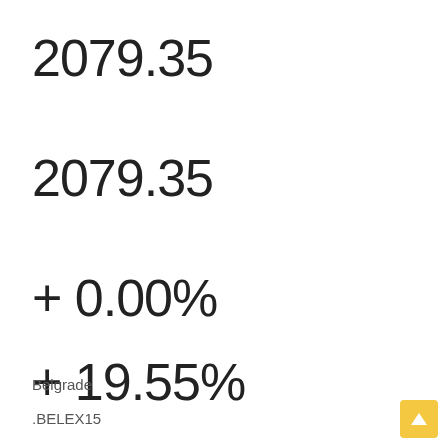2079.35
2079.35
+ 0.00%
+ 19.55%
Belgrade
.BELEX15